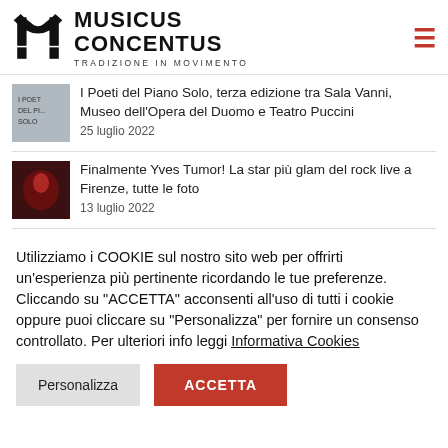[Figure (logo): Musicus Concentus logo with stylized M icon and text 'MUSICUS CONCENTUS TRADIZIONE IN MOVIMENTO']
I Poeti del Piano Solo, terza edizione tra Sala Vanni, Museo dell'Opera del Duomo e Teatro Puccini — 25 luglio 2022
Finalmente Yves Tumor! La star più glam del rock live a Firenze, tutte le foto — 13 luglio 2022
Utilizziamo i COOKIE sul nostro sito web per offrirti un'esperienza più pertinente ricordando le tue preferenze. Cliccando su "ACCETTA" acconsenti all'uso di tutti i cookie oppure puoi cliccare su "Personalizza" per fornire un consenso controllato. Per ulteriori info leggi Informativa Cookies